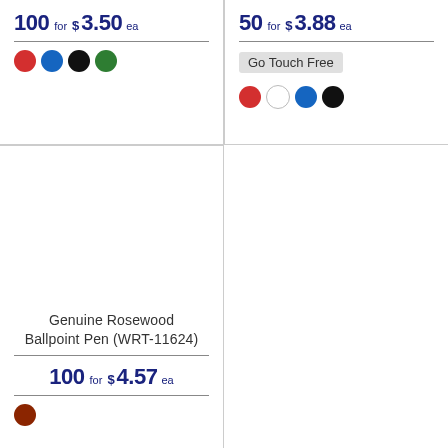[Figure (infographic): Top-left product card partial: price line '100 for $3.50 ea', color swatches: red, blue, black, green]
[Figure (infographic): Top-right product card partial: price line '50 for $3.88 ea', Go Touch Free badge, color swatches: red, white, blue, black]
[Figure (infographic): Bottom-left product card: Genuine Rosewood Ballpoint Pen (WRT-11624), 100 for $4.57 ea, rosewood color swatch]